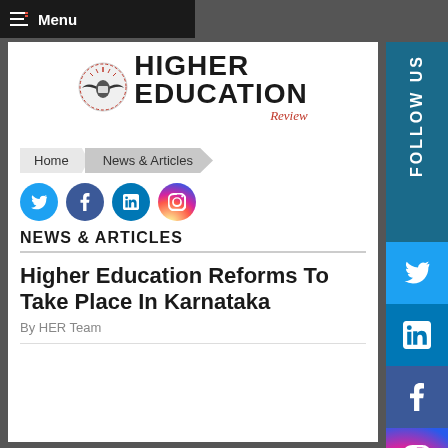Menu
[Figure (logo): Higher Education Review logo with eagle emblem]
Home > News & Articles
[Figure (infographic): Social media icons: Twitter, Facebook, LinkedIn, Instagram]
NEWS & ARTICLES
Higher Education Reforms To Take Place In Karnataka
By HER Team